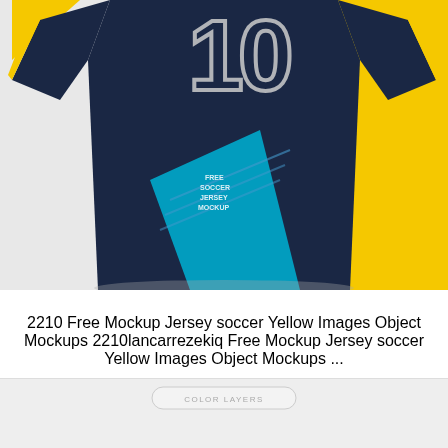[Figure (photo): Soccer jersey mockup with navy blue, yellow, and cyan design showing number 10 on the back, displayed against a half-gray, half-yellow background]
2210 Free Mockup Jersey soccer Yellow Images Object Mockups 2210lancarrezekiq Free Mockup Jersey soccer Yellow Images Object Mockups ...
[Figure (screenshot): Bottom panel showing 'COLOR LAYERS' button on a light gray background]